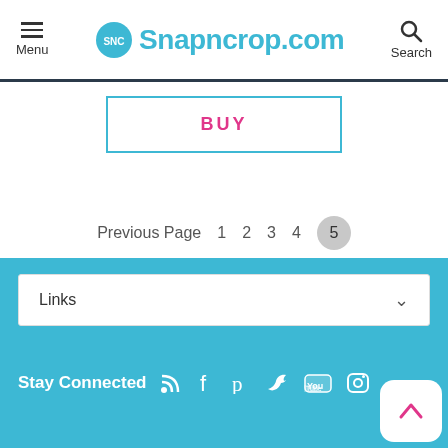Menu  Snapncrop.com  Search
BUY
Previous Page  1  2  3  4  5
Links
Stay Connected